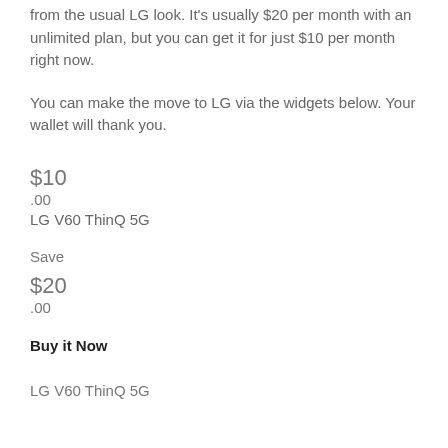from the usual LG look. It's usually $20 per month with an unlimited plan, but you can get it for just $10 per month right now.
You can make the move to LG via the widgets below. Your wallet will thank you.
$10
.00
LG V60 ThinQ 5G
Save
$20
.00
Buy it Now
LG V60 ThinQ 5G